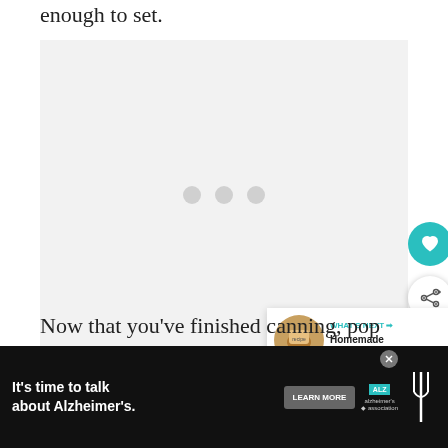enough to set.
[Figure (photo): A loading placeholder image area with three gray dots in the center on a light gray background, with a teal heart button and a white share button on the right side, and a 'What's Next' card showing 'Homemade Crockpot...' in the bottom right corner.]
Now that you've finished canning, pop
[Figure (infographic): Advertisement bar for Alzheimer's awareness: dark background with white text 'It's time to talk about Alzheimer's.' with a LEARN MORE button and Alzheimer's Association logo, and a close/fork icon on the right.]